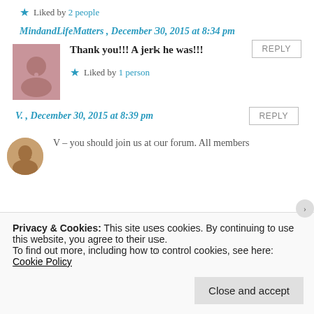★ Liked by 2 people
MindandLifeMatters , December 30, 2015 at 8:34 pm
REPLY
Thank you!!! A jerk he was!!!
★ Liked by 1 person
V. , December 30, 2015 at 8:39 pm
REPLY
V – you should join us at our forum. All members
Privacy & Cookies: This site uses cookies. By continuing to use this website, you agree to their use.
To find out more, including how to control cookies, see here: Cookie Policy
Close and accept